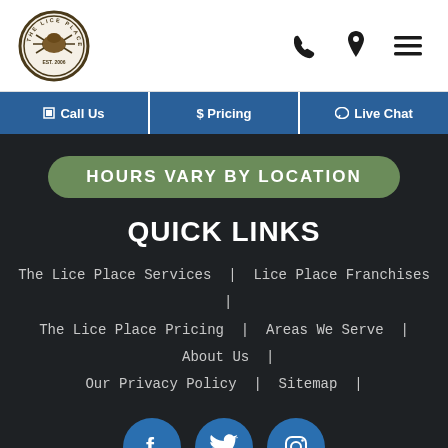[Figure (logo): The Lice Place circular logo with lice illustration, EST. 2006]
[Figure (infographic): Navigation header icons: phone, location pin, hamburger menu]
Call Us | $ Pricing | Live Chat
HOURS VARY BY LOCATION
QUICK LINKS
The Lice Place Services  |  Lice Place Franchises  |  The Lice Place Pricing  |  Areas We Serve  |  About Us  |  Our Privacy Policy  |  Sitemap  |
[Figure (infographic): Social media icons: Facebook, Twitter, Instagram]